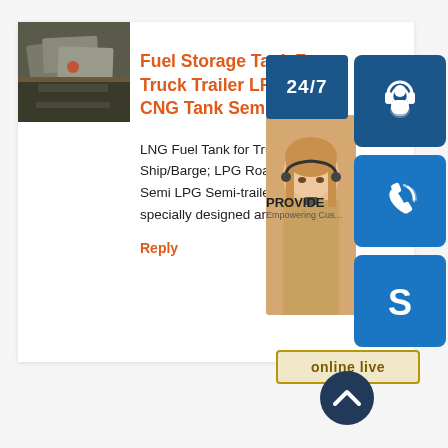[Figure (photo): Photo of large metal tank or steel plates being cut/processed in an industrial setting]
Fuel Storage Tank For Truck Trailer LPG CNG Tank Semi
LNG Fuel Tank for Truck/Ship/Barge; LPG Road Semi LPG Semi-trailer; specially designed an ...
Reply
[Figure (infographic): Overlay UI widgets: 24/7 badge, headset customer service icon, phone icon, Skype icon, woman with headset photo, PROVIDE Empowering Customers text, online live button, scroll-to-top arrow button]